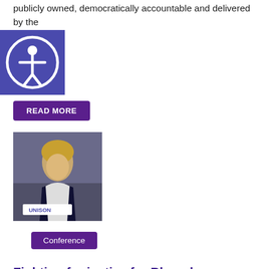publicly owned, democratically accountable and delivered by the
[Figure (other): Accessibility icon button - circular icon with person figure on dark blue/purple square background]
READ MORE
[Figure (photo): Woman speaking at a UNISON conference podium]
Conference
Fighting for justice for Bhopal
18 June 2015
UNISON vowed to put pressure on UK, Indian and governments to get justice for Bhopal, and to get